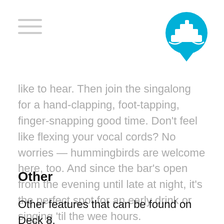like to hear. Then join the singalong for a hand-clapping, foot-tapping, finger-snapping good time. Don't feel like flexing your vocal cords? No worries — hummingbirds are welcome here, too. And since the bar's open from the evening until late at night, it's the perfect spot for an early drink or singing 'til the wee hours.
Other
Other features that can be found on Deck 8.